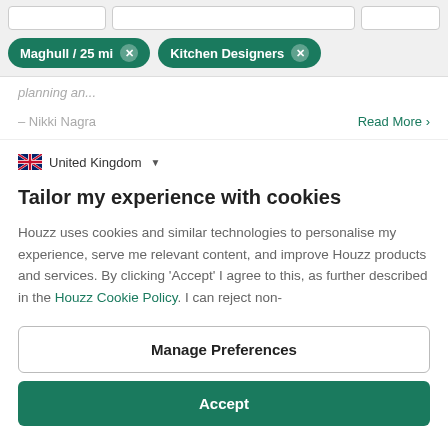[Figure (screenshot): UI filter tags showing 'Maghull / 25 mi' and 'Kitchen Designers' as removable pill buttons on a grey toolbar]
planning an...
– Nikki Nagra
Read More >
United Kingdom
Tailor my experience with cookies
Houzz uses cookies and similar technologies to personalise my experience, serve me relevant content, and improve Houzz products and services. By clicking 'Accept' I agree to this, as further described in the Houzz Cookie Policy. I can reject non-
Manage Preferences
Accept